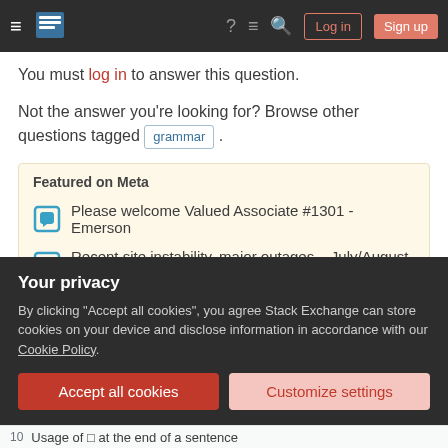Stack Exchange navigation bar with hamburger menu, logo, help, chat, search icons, Log in and Sign up buttons
You must log in to answer this question.
Not the answer you're looking for? Browse other questions tagged grammar .
Featured on Meta
Please welcome Valued Associate #1301 - Emerson
Recent site instability, major outages – July/August 2022
Linked
Your privacy
By clicking "Accept all cookies", you agree Stack Exchange can store cookies on your device and disclose information in accordance with our Cookie Policy.
Accept all cookies
Customize settings
10   Usage of □ at the end of a sentence